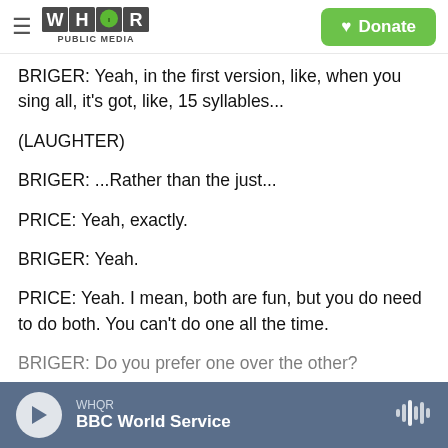WHQR PUBLIC MEDIA | Donate
BRIGER: Yeah, in the first version, like, when you sing all, it's got, like, 15 syllables...
(LAUGHTER)
BRIGER: ...Rather than the just...
PRICE: Yeah, exactly.
BRIGER: Yeah.
PRICE: Yeah. I mean, both are fun, but you do need to do both. You can't do one all the time.
BRIGER: Do you prefer one over the other?
WHQR | BBC World Service